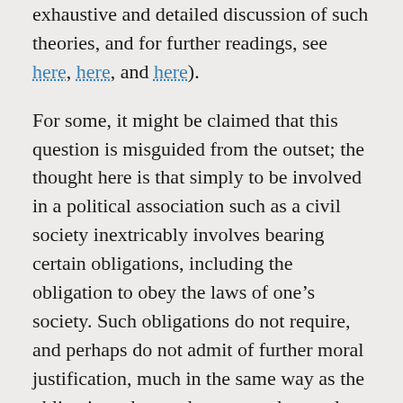exhaustive and detailed discussion of such theories, and for further readings, see here, here, and here).
For some, it might be claimed that this question is misguided from the outset; the thought here is that simply to be involved in a political association such as a civil society inextricably involves bearing certain obligations, including the obligation to obey the laws of one's society. Such obligations do not require, and perhaps do not admit of further moral justification, much in the same way as the obligations that we bear towards our close family members.
However, we might find it plausible to suppose that political obligation does require further moral justification. One prominent trend in the literature exploring such justification has been to appeal to the moral force of consent. On this approach, political